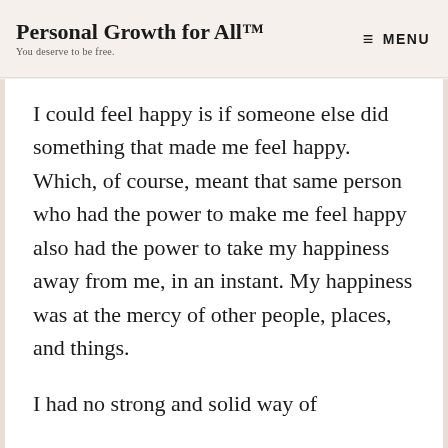Personal Growth for All™ — You deserve to be free. | MENU
I could feel happy is if someone else did something that made me feel happy. Which, of course, meant that same person who had the power to make me feel happy also had the power to take my happiness away from me, in an instant. My happiness was at the mercy of other people, places, and things.
I had no strong and solid way of